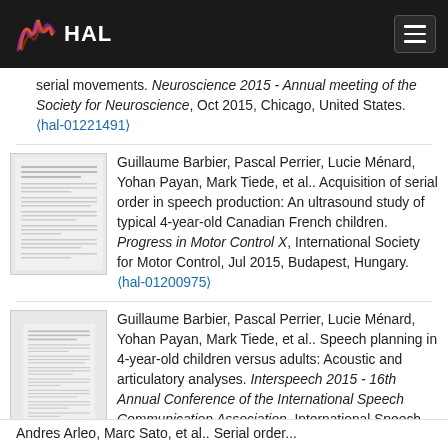HAL
serial movements. Neuroscience 2015 - Annual meeting of the Society for Neuroscience, Oct 2015, Chicago, United States. ⟨hal-01221491⟩
[Figure (other): Thumbnail of academic paper document]
Guillaume Barbier, Pascal Perrier, Lucie Ménard, Yohan Payan, Mark Tiede, et al.. Acquisition of serial order in speech production: An ultrasound study of typical 4-year-old Canadian French children. Progress in Motor Control X, International Society for Motor Control, Jul 2015, Budapest, Hungary. ⟨hal-01200975⟩
[Figure (other): Thumbnail of academic paper document]
Guillaume Barbier, Pascal Perrier, Lucie Ménard, Yohan Payan, Mark Tiede, et al.. Speech planning in 4-year-old children versus adults: Acoustic and articulatory analyses. Interspeech 2015 - 16th Annual Conference of the International Speech Communication Association, International Speech Communication Association, Sep 2015, Dresden, Germany. ⟨hal-01200984⟩
Andres Arleo, Marc Sato, et al.. Serial order...